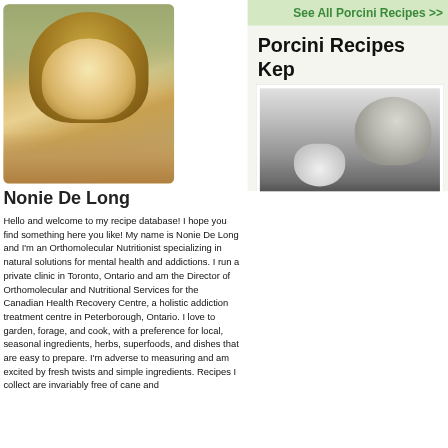[Figure (photo): Portrait photo of Nonie De Long, a blonde woman posing with hand near chin]
Nonie De Long
Hello and welcome to my recipe database! I hope you find something here you like! My name is Nonie De Long and I'm an Orthomolecular Nutritionist specializing in natural solutions for mental health and addictions. I run a private clinic in Toronto, Ontario and am the Director of Orthomolecular and Nutritional Services for the Canadian Health Recovery Centre, a holistic addiction treatment centre in Peterborough, Ontario. I love to garden, forage, and cook, with a preference for local, seasonal ingredients, herbs, superfoods, and dishes that are easy to prepare. I'm adverse to measuring and am excited by fresh twists and simple ingredients. Recipes I collect are invariably free of cane and
See All Porcini Recipes >>
Porcini Recipes Kep
[Figure (photo): Black and white photo of a child looking into a white soup bowl]
Sasha's Mushrom Soup
18   1
Kept by Nonie